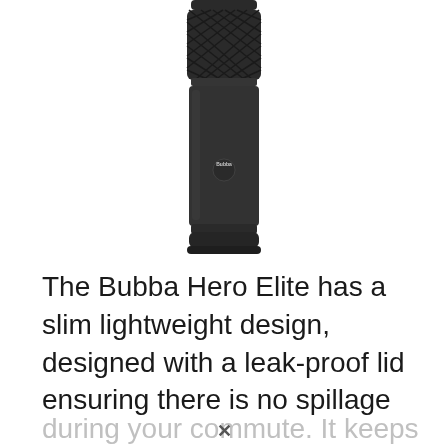[Figure (photo): A black Bubba Hero Elite insulated travel mug/bottle with a textured diamond-pattern grip near the top, matte black finish, and the Bubba logo on the body. The bottle is shown standing upright against a white background.]
The Bubba Hero Elite has a slim lightweight design, designed with a leak-proof lid ensuring there is no spillage during your commute. It keeps hot drinks...